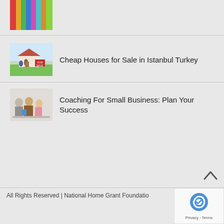[Figure (photo): Colorful crafts or decorations image at top]
Cheap Houses for Sale in Istanbul Turkey
Coaching For Small Business: Plan Your Success
All Rights Reserved | National Home Grant Foundation